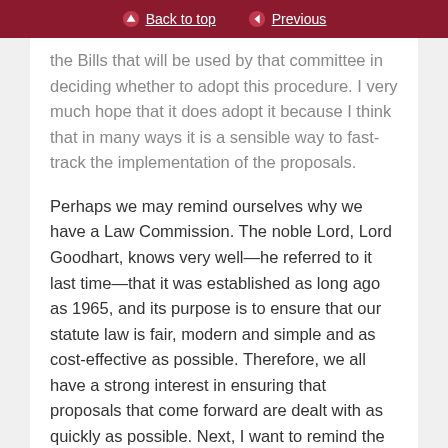Back to top | Previous
the Bills that will be used by that committee in deciding whether to adopt this procedure. I very much hope that it does adopt it because I think that in many ways it is a sensible way to fast-track the implementation of the proposals.
Perhaps we may remind ourselves why we have a Law Commission. The noble Lord, Lord Goodhart, knows very well—he referred to it last time—that it was established as long ago as 1965, and its purpose is to ensure that our statute law is fair, modern and simple and as cost-effective as possible. Therefore, we all have a strong interest in ensuring that proposals that come forward are dealt with as quickly as possible. Next, I want to remind the Minister that the consultation which resulted in the